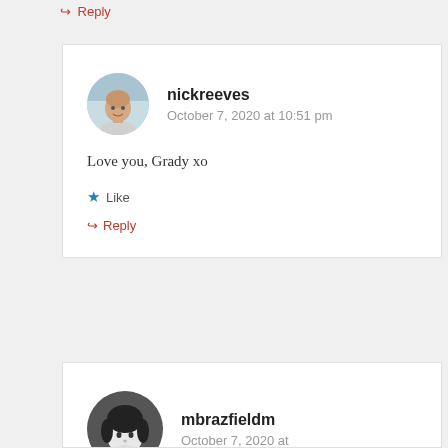↳ Reply
nickreeves
October 7, 2020 at 10:51 pm
Love you, Grady xo
★ Like
↳ Reply
mbrazfieldm
October 7, 2020 at